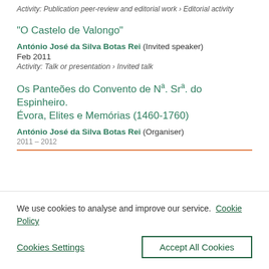Activity: Publication peer-review and editorial work › Editorial activity
“O Castelo de Valongo”
António José da Silva Botas Rei (Invited speaker)
Feb 2011
Activity: Talk or presentation › Invited talk
Os Panteões do Convento de Nª. Srª. do Espinheiro. Évora, Elites e Memórias (1460-1760)
António José da Silva Botas Rei (Organiser)
2011 – 2012
We use cookies to analyse and improve our service. Cookie Policy
Cookies Settings
Accept All Cookies